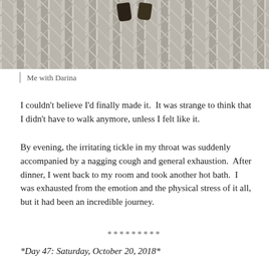[Figure (photo): Photo showing feet in sandals standing on cobblestone pavement, viewed from above]
Me with Darina
I couldn't believe I'd finally made it.  It was strange to think that I didn't have to walk anymore, unless I felt like it.
By evening, the irritating tickle in my throat was suddenly accompanied by a nagging cough and general exhaustion.  After dinner, I went back to my room and took another hot bath.  I was exhausted from the emotion and the physical stress of it all, but it had been an incredible journey.
*********
*Day 47: Saturday, October 20, 2018*